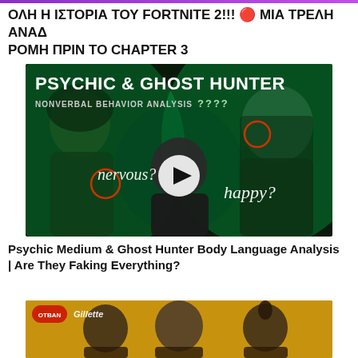ΟΛΗ Η ΙΣΤΟΡΙΑ ΤΟΥ FORTNITE 2!!! 🔴 ΜΙΑ ΤΡΕΛΗ ΑΝΑΔΡΟΜΗ ΠΡΙΝ ΤΟ CHAPTER 3
[Figure (screenshot): YouTube video thumbnail for 'Psychic & Ghost Hunter Nonverbal Behavior Analysis' showing three people (two women, one man in center) under green lighting with text 'nervous?' and 'happy?' and a play button overlay]
Psychic Medium & Ghost Hunter Body Language Analysis | Are They Faking Everything?
[Figure (screenshot): YouTube video thumbnail showing men in golden/brown tone, with OTBAN and Gillette logos in top-left]